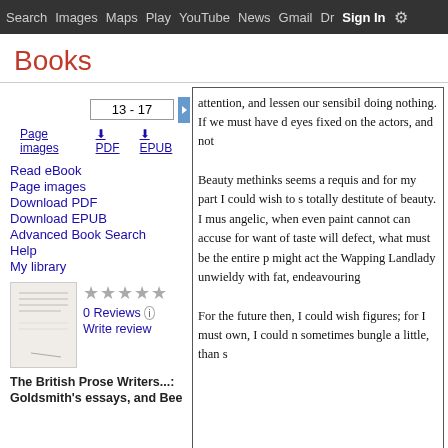Search  Images  Maps  Play  YouTube  News  Gmail  Dr...  More  Sign in  ⚙
Books
13 - 17
Page images  ⬇ PDF  ⬇ EPUB
Read eBook
Page images
Download PDF
Download EPUB
Advanced Book Search
Help
My library
0 Reviews
Write review
The British Prose Writers...: Goldsmith's essays, and Bee
attention, and lessen our sensibil doing nothing. If we must have d eyes fixed on the actors, and not

Beauty methinks seems a requis and for my part I could wish to s totally destitute of beauty. I mus angelic, when even paint cannot can accuse for want of taste will defect, what must be the entire p might act the Wapping Landlady unwieldy with fat, endeavouring

For the future then, I could wish figures; for I must own, I could n sometimes bungle a little, than s